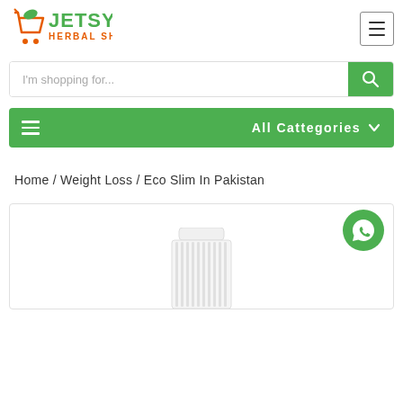[Figure (logo): Jetsy Herbal Shop logo with a shopping cart icon and orange/green branding text]
[Figure (screenshot): Hamburger menu button (three horizontal lines) in a bordered square]
[Figure (screenshot): Search bar with placeholder 'I'm shopping for...' and a green search button with magnifier icon]
[Figure (screenshot): Green navigation bar with hamburger icon on left and 'All Cattegories' label with chevron on right]
Home / Weight Loss / Eco Slim In Pakistan
[Figure (screenshot): Product image area showing top of a white cylindrical container/bottle, with a green WhatsApp chat button in top-right corner]